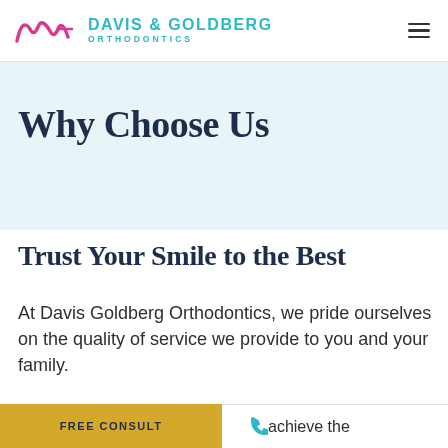[Figure (logo): Davis & Goldberg Orthodontics logo with stylized script mark and teal text]
Why Choose Us
Trust Your Smile to the Best
At Davis Goldberg Orthodontics, we pride ourselves on the quality of service we provide to you and your family.
FREE CONSULT
achieve the